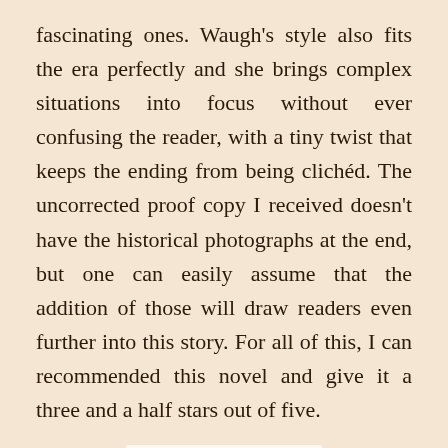fascinating ones. Waugh's style also fits the era perfectly and she brings complex situations into focus without ever confusing the reader, with a tiny twist that keeps the ending from being clichéd. The uncorrected proof copy I received doesn't have the historical photographs at the end, but one can easily assume that the addition of those will draw readers even further into this story. For all of this, I can recommended this novel and give it a three and a half stars out of five.
[Figure (illustration): Three and a half gold stars rating image]
“Melting the Snow on Hester Street” by Daisy Waugh, published by Harper Collins, March 2013